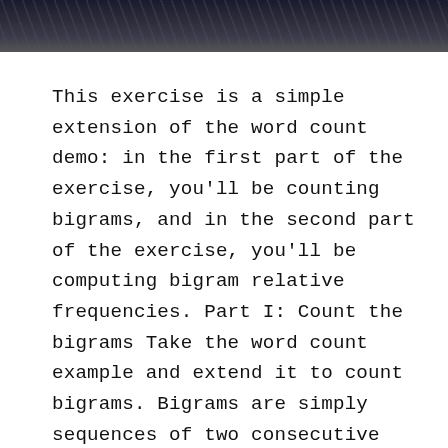[Figure (photo): Dark header image with abstract textured background, appearing to show blurred dark foliage or fabric in dark navy/grey tones.]
This exercise is a simple extension of the word count demo: in the first part of the exercise, you'll be counting bigrams, and in the second part of the exercise, you'll be computing bigram relative frequencies. Part I: Count the bigrams Take the word count example and extend it to count bigrams. Bigrams are simply sequences of two consecutive words. For example, the previous sentence contains the following bigrams: “Bigrams are”, “are simply”, “simply sequences”, “sequence of”, etc. Work with the sample collection